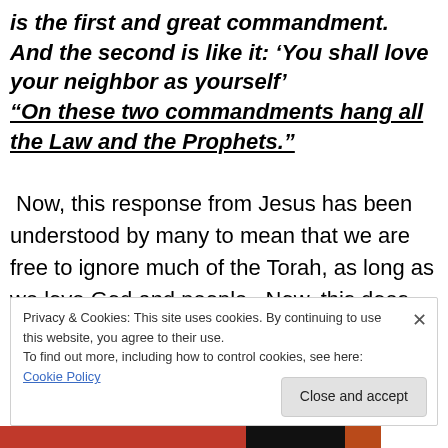is the first and great commandment.  And the second is like it: 'You shall love your neighbor as yourself' "On these two commandments hang all the Law and the Prophets."
Now, this response from Jesus has been understood by many to mean that we are free to ignore much of the Torah, as long as we love God and people.  Now, this does tickle the ears a bit.  However, let's take note of a couple of key points many overlook.  First, notice that the response by Jesus does not do away with or change the
Privacy & Cookies: This site uses cookies. By continuing to use this website, you agree to their use.
To find out more, including how to control cookies, see here: Cookie Policy
Close and accept